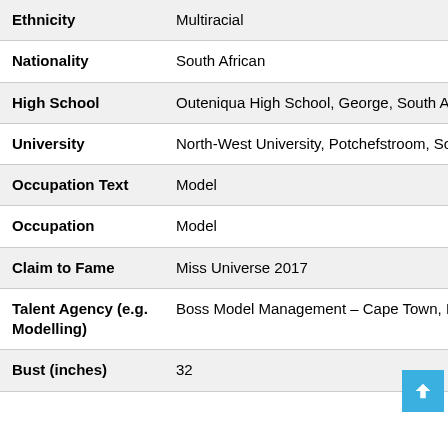| Field | Value |
| --- | --- |
| Ethnicity | Multiracial |
| Nationality | South African |
| High School | Outeniqua High School, George, South Africa |
| University | North-West University, Potchefstroom, South A |
| Occupation Text | Model |
| Occupation | Model |
| Claim to Fame | Miss Universe 2017 |
| Talent Agency (e.g. Modelling) | Boss Model Management – Cape Town, Boss M Johannesburg |
| Bust (inches) | 32 |